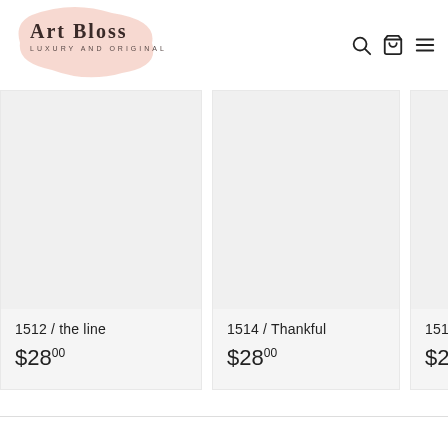Art Bloss — Luxury and Original
1512 / the line
$28.00
1514 / Thankful
$28.00
1513
$28.00